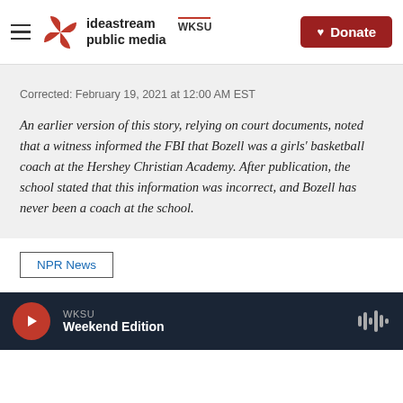ideastream public media WKSU | Donate
Corrected: February 19, 2021 at 12:00 AM EST
An earlier version of this story, relying on court documents, noted that a witness informed the FBI that Bozell was a girls' basketball coach at the Hershey Christian Academy. After publication, the school stated that this information was incorrect, and Bozell has never been a coach at the school.
NPR News
WKSU Weekend Edition